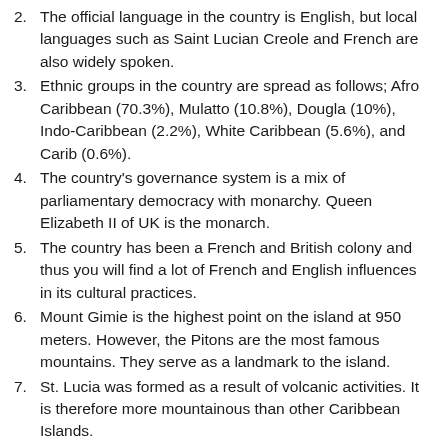2. The official language in the country is English, but local languages such as Saint Lucian Creole and French are also widely spoken.
3. Ethnic groups in the country are spread as follows; Afro Caribbean (70.3%), Mulatto (10.8%), Dougla (10%), Indo-Caribbean (2.2%), White Caribbean (5.6%), and Carib (0.6%).
4. The country's governance system is a mix of parliamentary democracy with monarchy. Queen Elizabeth II of UK is the monarch.
5. The country has been a French and British colony and thus you will find a lot of French and English influences in its cultural practices.
6. Mount Gimie is the highest point on the island at 950 meters. However, the Pitons are the most famous mountains. They serve as a landmark to the island.
7. St. Lucia was formed as a result of volcanic activities. It is therefore more mountainous than other Caribbean Islands.
8. Popular points of interest in St. Lucia include; The Pitons, Castries, Marigot Bay, Gros Islet, Pigeon Island National Park Fort Rodney and the Botanical Gardens.
9. Popular dishes include; macaroni pie, stew chicken with rice and peas, and hearty soups packed with local fresh...